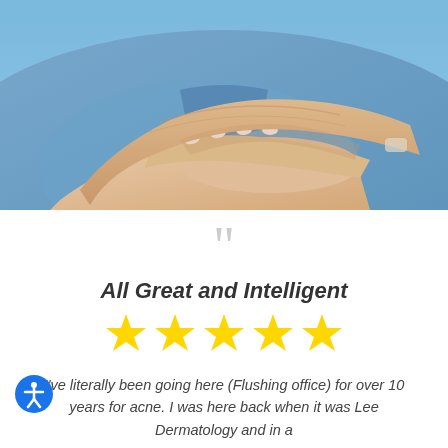[Figure (photo): Close-up photo of two people's hands clasped together, wearing denim/blue clothing. One hand with French manicured nails rests on top.]
““
All Great and Intelligent
[Figure (infographic): Five yellow star rating icons in a row]
I’ve literally been going here (Flushing office) for over 10 years for acne. I was here back when it was Lee Dermatology and in a